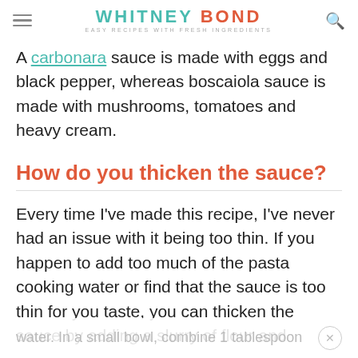WHITNEY BOND — EASY RECIPES WITH FRESH INGREDIENTS
A carbonara sauce is made with eggs and black pepper, whereas boscaiola sauce is made with mushrooms, tomatoes and heavy cream.
How do you thicken the sauce?
Every time I've made this recipe, I've never had an issue with it being too thin. If you happen to add too much of the pasta cooking water or find that the sauce is too thin for you taste, you can thicken the sauce by adding a slurry of flour and
water. In a small bowl, combine 1 tablespoon